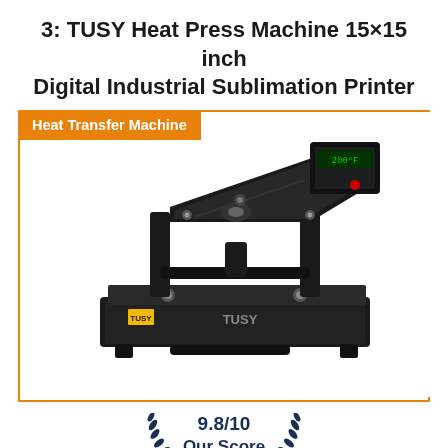3: TUSY Heat Press Machine 15×15 inch Digital Industrial Sublimation Printer
[Figure (photo): TUSY Heat Press Machine 15x15 inch, black industrial sublimation heat transfer machine, shown at an angle with the upper arm raised, with orange badge label 'Heat Transfer Machine' in top-left corner]
9.8/10 Our Score